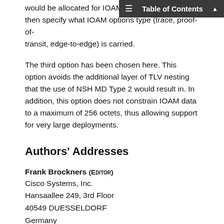would be allocated for IOAM then specify what IOAM options type (trace, proof-of-transit, edge-to-edge) is carried.
The third option has been chosen here. This option avoids the additional layer of TLV nesting that the use of NSH MD Type 2 would result in. In addition, this option does not constrain IOAM data to a maximum of 256 octets, thus allowing support for very large deployments.
Authors' Addresses
Frank Brockners (EDITOR)
Cisco Systems, Inc.
Hansaallee 249, 3rd Floor
40549 DUESSELDORF
Germany
Email: fbrockne@cisco.com
Shwetha Bhandari (EDITOR)
Thoughtspot